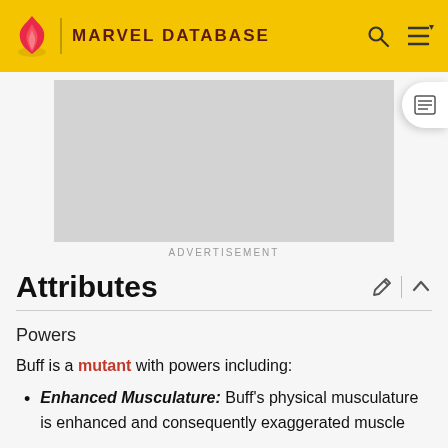MARVEL DATABASE
[Figure (other): Advertisement placeholder grey box]
ADVERTISEMENT
Attributes
Powers
Buff is a mutant with powers including:
Enhanced Musculature: Buff's physical musculature is enhanced and consequently exaggerated muscle